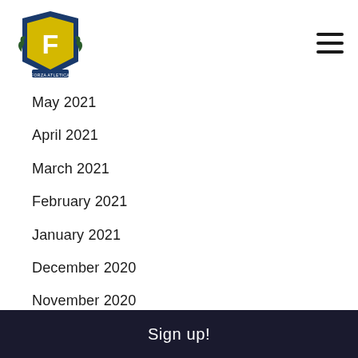[Logo: F Athletics shield] [Hamburger menu icon]
May 2021
April 2021
March 2021
February 2021
January 2021
December 2020
November 2020
October 2020
May 2020
March 2020
February 2020
January 2020
Sign up!